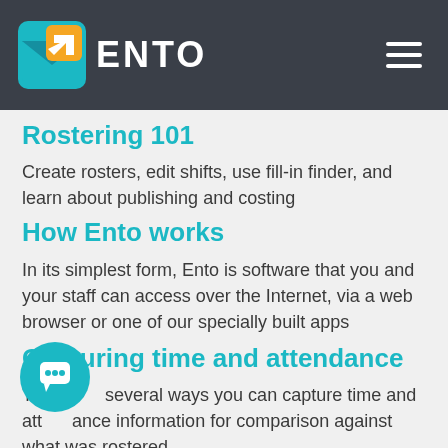ENTO
Rostering 101
Create rosters, edit shifts, use fill-in finder, and learn about publishing and costing
How Ento works
In its simplest form, Ento is software that you and your staff can access over the Internet, via a web browser or one of our specially built apps
Capturing time and attendance
There are several ways you can capture time and attendance information for comparison against what was rostered